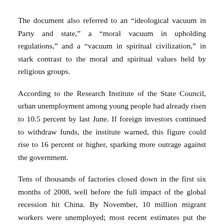The document also referred to an “ideological vacuum in Party and state,” a “moral vacuum in upholding regulations,” and a “vacuum in spiritual civilization,” in stark contrast to the moral and spiritual values held by religious groups.
According to the Research Institute of the State Council, urban unemployment among young people had already risen to 10.5 percent by last June. If foreign investors continued to withdraw funds, the institute warned, this figure could rise to 16 percent or higher, sparking more outrage against the government.
Tens of thousands of factories closed down in the first six months of 2008, well before the full impact of the global recession hit China. By November, 10 million migrant workers were unemployed; most recent estimates put the figure at 20 million, and officials admit this figure will reach at least 35 million by the time...